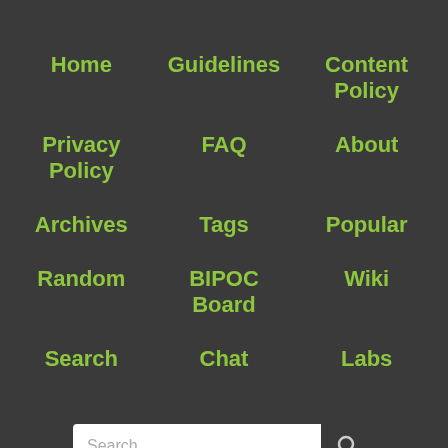Home
Guidelines
Content Policy
Privacy Policy
FAQ
About
Archives
Tags
Popular
Random
BIPOC Board
Wiki
Search
Chat
Labs
Search…
Fund MetaFilter
Join 6,757 readers in helping fund MetaFilter